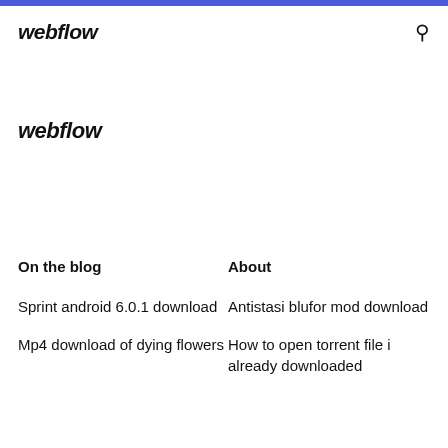webflow
webflow
On the blog
About
Sprint android 6.0.1 download
Antistasi blufor mod download
Mp4 download of dying flowers
How to open torrent file i already downloaded